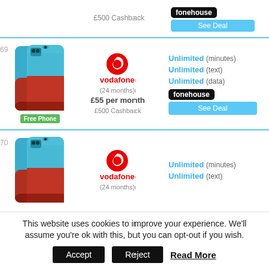£500 Cashback
[Figure (logo): fonehouse logo - black background white text]
See Deal
[Figure (photo): Samsung Galaxy A12 blue smartphone, two phones shown]
[Figure (logo): Vodafone logo - red circle with white apostrophe, red text vodafone]
(24 months)
£55 per month
Free Phone
£500 Cashback
Unlimited (minutes)
Unlimited (text)
Unlimited (data)
[Figure (logo): fonehouse logo - black background white text]
See Deal
[Figure (photo): Samsung Galaxy A12 blue smartphone, two phones shown]
[Figure (logo): Vodafone logo - red circle with white apostrophe, red text vodafone]
(24 months)
Unlimited (minutes)
Unlimited (text)
This website uses cookies to improve your experience. We'll assume you're ok with this, but you can opt-out if you wish.
Accept
Reject
Read More